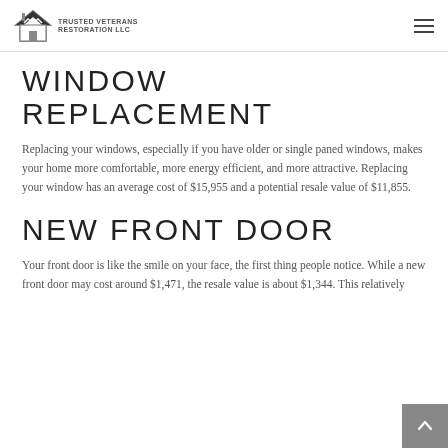Trusted Veterans Restoration LLC
WINDOW REPLACEMENT
Replacing your windows, especially if you have older or single paned windows, makes your home more comfortable, more energy efficient, and more attractive. Replacing your window has an average cost of $15,955 and a potential resale value of $11,855.
NEW FRONT DOOR
Your front door is like the smile on your face, the first thing people notice. While a new front door may cost around $1,471, the resale value is about $1,344. This relatively